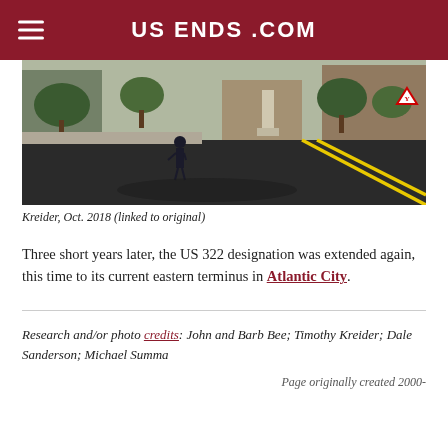US ENDS .COM
[Figure (photo): Street-level photo of an intersection with a road, yellow center line, trees, buildings, a monument/statue, and a person standing on the sidewalk. Kreider, Oct. 2018 (linked to original)]
Kreider, Oct. 2018 (linked to original)
Three short years later, the US 322 designation was extended again, this time to its current eastern terminus in Atlantic City.
Research and/or photo credits: John and Barb Bee; Timothy Kreider; Dale Sanderson; Michael Summa
Page originally created 2000-